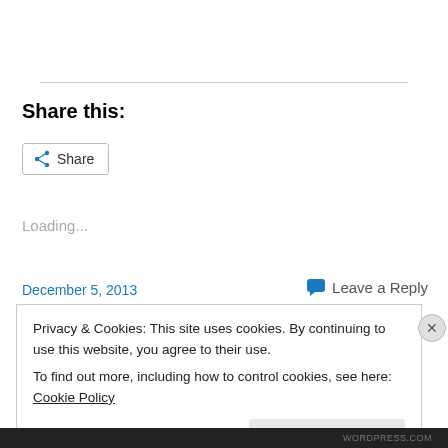Share this:
[Figure (other): Share button with share icon]
Loading...
December 5, 2013
Leave a Reply
Privacy & Cookies: This site uses cookies. By continuing to use this website, you agree to their use.
To find out more, including how to control cookies, see here: Cookie Policy
Close and accept
WORDPRESS.COM